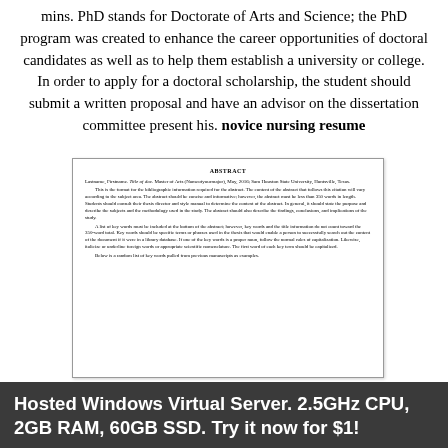mins. PhD stands for Doctorate of Arts and Science; the PhD program was created to enhance the career opportunities of doctoral candidates as well as to help them establish a university or college. In order to apply for a doctoral scholarship, the student should submit a written proposal and have an advisor on the dissertation committee present his. novice nursing resume
[Figure (screenshot): A scanned document page showing an ABSTRACT section with citation info (Lastname, Firstname, Title of doc, Master of Arts, May 2016, Sam Houston State University, Huntsville, Texas) followed by body text describing abstract format requirements including word count, key words, and formatting instructions.]
Hosted Windows Virtual Server. 2.5GHz CPU, 2GB RAM, 60GB SSD. Try it now for $1!